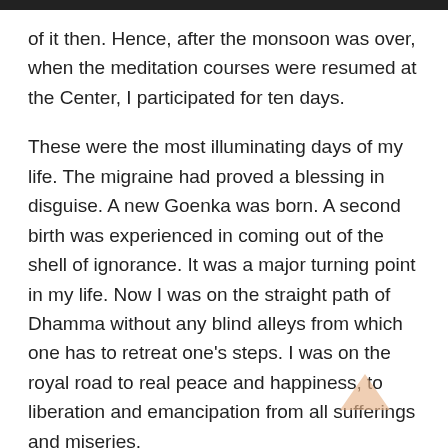of it then. Hence, after the monsoon was over, when the meditation courses were resumed at the Center, I participated for ten days.
These were the most illuminating days of my life. The migraine had proved a blessing in disguise. A new Goenka was born. A second birth was experienced in coming out of the shell of ignorance. It was a major turning point in my life. Now I was on the straight path of Dhamma without any blind alleys from which one has to retreat one's steps. I was on the royal road to real peace and happiness, to liberation and emancipation from all sufferings and miseries.
All the doubts and misgivings were gone. The physical suffering of migraine was so trivial compared to the huge mass of invisible suffering in which I was involved. Hence a relief from migraine was a mere by-product. The self-introspection by Vipassana had shown me that my whole